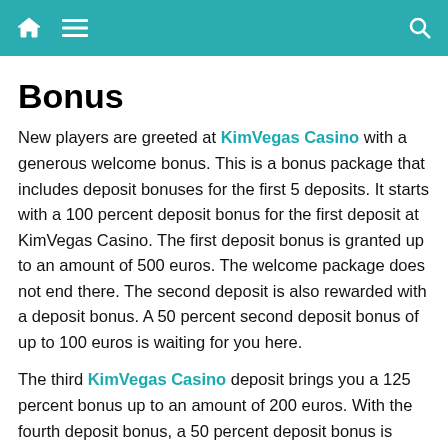Navigation bar with home, menu, and search icons
Bonus
New players are greeted at KimVegas Casino with a generous welcome bonus. This is a bonus package that includes deposit bonuses for the first 5 deposits. It starts with a 100 percent deposit bonus for the first deposit at KimVegas Casino. The first deposit bonus is granted up to an amount of 500 euros. The welcome package does not end there. The second deposit is also rewarded with a deposit bonus. A 50 percent second deposit bonus of up to 100 euros is waiting for you here.
The third KimVegas Casino deposit brings you a 125 percent bonus up to an amount of 200 euros. With the fourth deposit bonus, a 50 percent deposit bonus is waiting for you. Here you get an extra credit of up to 200 euros. The welcome package concludes with a fifth deposit bonus. A 125 percent deposit bonus awaits you here, which brings in up to 300 euros. If you use all the deposit bonuses, you can